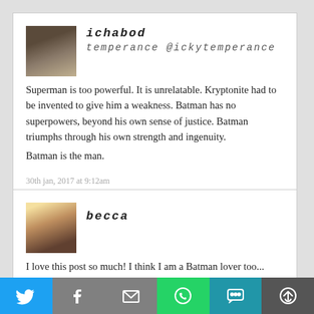[Figure (photo): Profile photo of ichabod temperance, dark toned, person in white shirt]
ichabod temperance @ickytemperance
Superman is too powerful. It is unrelatable. Kryptonite had to be invented to give him a weakness. Batman has no superpowers, beyond his own sense of justice. Batman triumphs through his own strength and ingenuity.
Batman is the man.
30th jan, 2017 at 9:12am
[Figure (photo): Profile photo of becca, woman with dark hair, yellow background]
becca
I love this post so much! I think I am a Batman lover too... although I have fallen for a
[Figure (infographic): Social share bar with Twitter, Facebook, Email, WhatsApp, SMS, and More buttons]